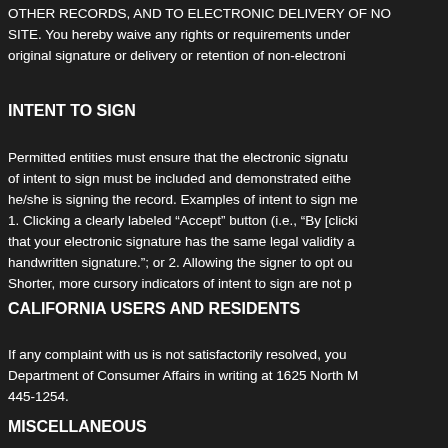OTHER RECORDS, AND TO ELECTRONIC DELIVERY OF NO SITE. You hereby waive any rights or requirements under original signature or delivery or retention of non-electroni
INTENT TO SIGN
Permitted entities must ensure that the electronic signatu of intent to sign must be included and demonstrated eithe he/she is signing the record. Examples of intent to sign me 1. Clicking a clearly labeled “Accept” button (i.e., “By [clicki that your electronic signature has the same legal validity a handwritten signature.”; or 2. Allowing the signer to opt ou Shorter, more cursory indicators of intent to sign are not p
CALIFORNIA USERS AND RESIDENTS
If any complaint with us is not satisfactorily resolved, you Department of Consumer Affairs in writing at 1625 North M 445-1254.
MISCELLANEOUS
These Terms of Use and any policies or operating rules po